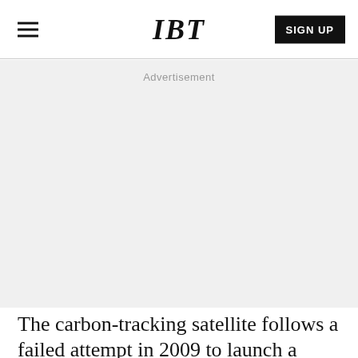IBT
Advertisement
The carbon-tracking satellite follows a failed attempt in 2009 to launch a near-identical model